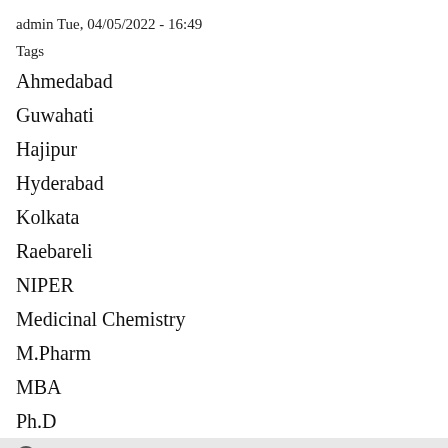admin Tue, 04/05/2022 - 16:49
Tags
Ahmedabad
Guwahati
Hajipur
Hyderabad
Kolkata
Raebareli
NIPER
Medicinal Chemistry
M.Pharm
MBA
Ph.D
EE
Pharmacology